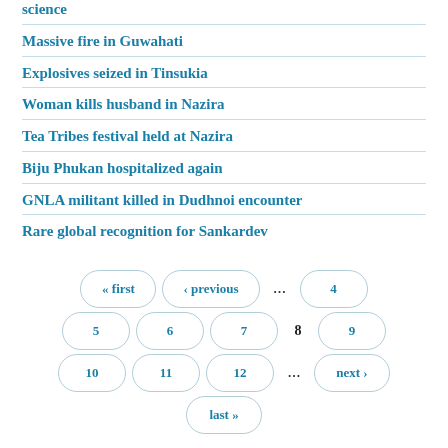science
Massive fire in Guwahati
Explosives seized in Tinsukia
Woman kills husband in Nazira
Tea Tribes festival held at Nazira
Biju Phukan hospitalized again
GNLA militant killed in Dudhnoi encounter
Rare global recognition for Sankardev
« first  ‹ previous  ...  4  5  6  7  8  9  10  11  12  ...  next ›  last »